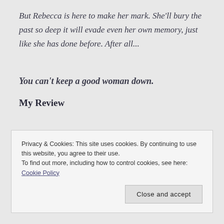But Rebecca is here to make her mark. She'll bury the past so deep it will evade even her own memory, just like she has done before. After all...
You can't keep a good woman down.
My Review
Privacy & Cookies: This site uses cookies. By continuing to use this website, you agree to their use.
To find out more, including how to control cookies, see here: Cookie Policy